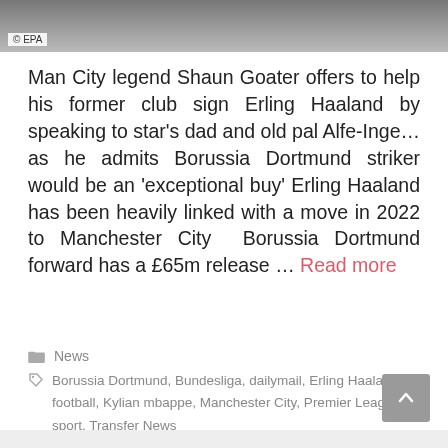[Figure (photo): Cropped photo of a person, partially visible, with EPA watermark label in top left corner]
Man City legend Shaun Goater offers to help his former club sign Erling Haaland by speaking to star's dad and old pal Alfe-Inge... as he admits Borussia Dortmund striker would be an 'exceptional buy' Erling Haaland has been heavily linked with a move in 2022 to Manchester City  Borussia Dortmund forward has a £65m release ... Read more
News
Borussia Dortmund, Bundesliga, dailymail, Erling Haaland, football, Kylian mbappe, Manchester City, Premier League, sport, Transfer News